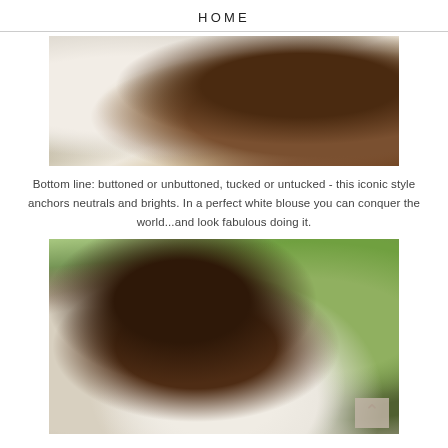HOME
[Figure (photo): Close-up photo of a woman wearing a white blouse with a leather bracelet, her hand raised near her head, with greenery in the background.]
Bottom line: buttoned or unbuttoned, tucked or untucked - this iconic style anchors neutrals and brights. In a perfect white blouse you can conquer the world...and look fabulous doing it.
[Figure (photo): Photo of a young woman with curly dark hair wearing a white blouse and gold necklace, with sunglasses on her head, standing outdoors with a black iron railing and green trees in background.]